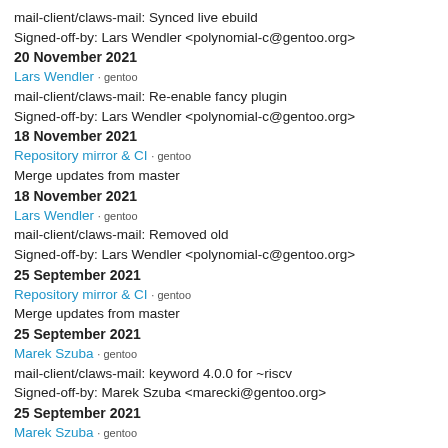mail-client/claws-mail: Synced live ebuild
Signed-off-by: Lars Wendler <polynomial-c@gentoo.org>
20 November 2021
Lars Wendler · gentoo
mail-client/claws-mail: Re-enable fancy plugin
Signed-off-by: Lars Wendler <polynomial-c@gentoo.org>
18 November 2021
Repository mirror & CI · gentoo
Merge updates from master
18 November 2021
Lars Wendler · gentoo
mail-client/claws-mail: Removed old
Signed-off-by: Lars Wendler <polynomial-c@gentoo.org>
25 September 2021
Repository mirror & CI · gentoo
Merge updates from master
25 September 2021
Marek Szuba · gentoo
mail-client/claws-mail: keyword 4.0.0 for ~riscv
Signed-off-by: Marek Szuba <marecki@gentoo.org>
25 September 2021
Marek Szuba · gentoo